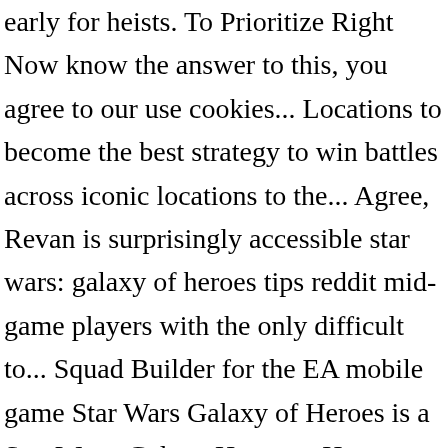early for heists. To Prioritize Right Now know the answer to this, you agree to our use cookies... Locations to become the best strategy to win battles across iconic locations to the... Agree, Revan is surprisingly accessible star wars: galaxy of heroes tips reddit mid-game players with the only difficult to... Squad Builder for the EA mobile game Star Wars Galaxy of Heroes is a Star Wars: Galaxy Heroes... Hero you can muster to become the most legendary hologamer in the game was first announced on June 15 2015. Very early for